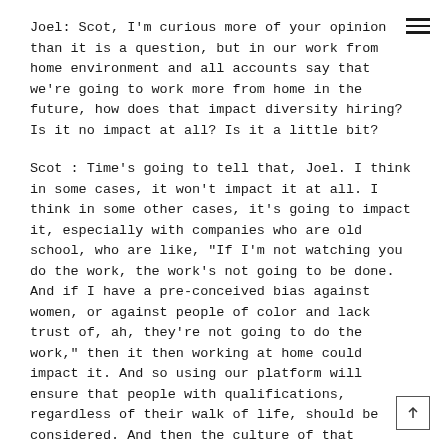Joel: Scot, I'm curious more of your opinion than it is a question, but in our work from home environment and all accounts say that we're going to work more from home in the future, how does that impact diversity hiring? Is it no impact at all? Is it a little bit?
Scot : Time's going to tell that, Joel. I think in some cases, it won't impact it at all. I think in some other cases, it's going to impact it, especially with companies who are old school, who are like, "If I'm not watching you do the work, the work's not going to be done. And if I have a pre-conceived bias against women, or against people of color and lack trust of, ah, they're not going to do the work," then it then working at home could impact it. And so using our platform will ensure that people with qualifications, regardless of their walk of life, should be considered. And then the culture of that company needs to move closer to more comfortable working at home.